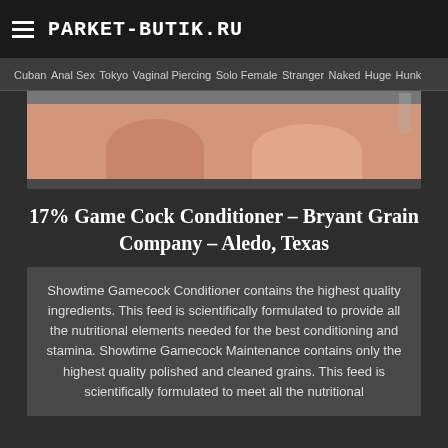PARKET-BUTIK.RU
Cuban  Anal Sex  Tokyo  Vaginal Piercing  Solo Female  Stranger  Naked  Huge  Hunk
[Figure (photo): Close-up photo, pinkish/skin-toned image in a dark gray container box]
17% Game Cock Conditioner – Bryant Grain Company – Aledo, Texas
Showtime Gamecock Conditioner contains the highest quality ingredients. This feed is scientifically formulated to provide all the nutritional elements needed for the best conditioning and stamina. Showtime Gamecock Maintenance contains only the highest quality polished and cleaned grains. This feed is scientifically formulated to meet all the nutritional